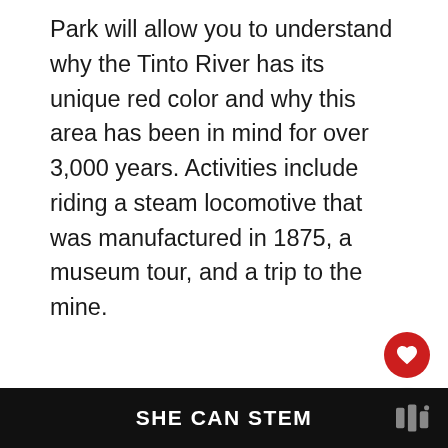Park will allow you to understand why the Tinto River has its unique red color and why this area has been in mind for over 3,000 years. Activities include riding a steam locomotive that was manufactured in 1875, a museum tour, and a trip to the mine.
Latest Posts about Huelva:
[Figure (other): What's Next panel with thumbnail image of coastal scenery and text 'Ultimate Guide on Things to...']
SHE CAN STEM